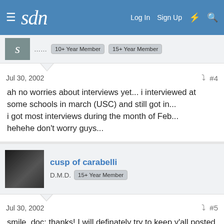sdn — Log In  Sign Up
.....  10+ Year Member  15+ Year Member
Jul 30, 2002  #4
ah no worries about interviews yet... i interviewed at some schools in march (USC) and still got in...
i got most interviews during the month of Feb...
hehehe don't worry guys...
cusp of carabelli
D.M.D.  15+ Year Member
Jul 30, 2002  #5
smile_doc: thanks! I will definately try to keep y'all posted on the goings on in North Philly. And good luck to you as well as all of you applicants/re-applicants. Keep your head up and your faith strong. 🙂